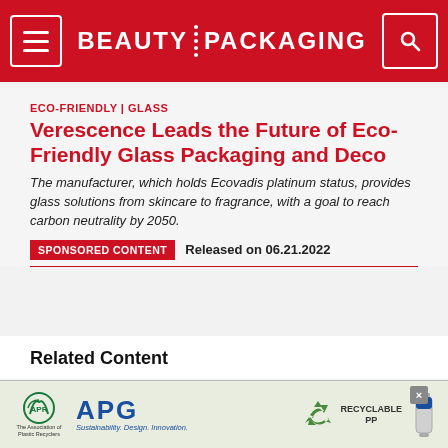BEAUTY PACKAGING
ECO-FRIENDLY | GLASS
Verescence Leads the Future of Eco-Friendly Glass Packaging and Deco
The manufacturer, which holds Ecovadis platinum status, provides glass solutions from skincare to fragrance, with a goal to reach carbon neutrality by 2050.
SPONSORED CONTENT   Released on 06.21.2022
Related Content
COSMETICS
[Figure (photo): Thumbnail image of related cosmetics article showing two men and branded packaging]
[Figure (logo): APG advertisement banner with APR and APG logos, Recyclable PP messaging and bottle image]